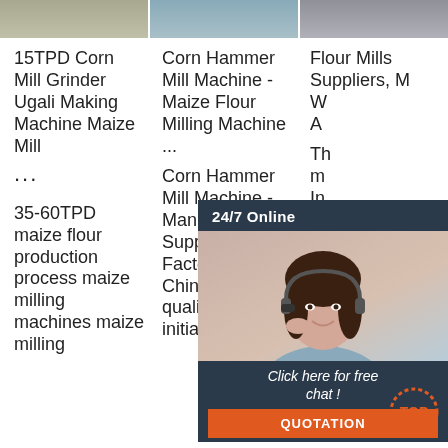[Figure (photo): Top strip of three partially visible product/scene images side by side]
15TPD Corn Mill Grinder Ugali Making Machine Maize Mill ...
35-60TPD maize flour production process maize milling machines maize milling
Corn Hammer Mill Machine - Maize Flour Milling Machine ...
Corn Hammer Mill Machine - Manufacturers, Suppliers, Factory from China. Good quality comes initial; company
Flour Mills Suppliers, M... W... A...
Th... m... In... di... nu... and sifter to mill the corn and separate the flour and bran (1) Mill:
[Figure (other): 24/7 Online chat widget overlay showing a woman with headset, dark blue background, orange QUOTATION button and italic Click here for free chat text]
[Figure (logo): TOP logo watermark in orange/red dotted circle at bottom right]